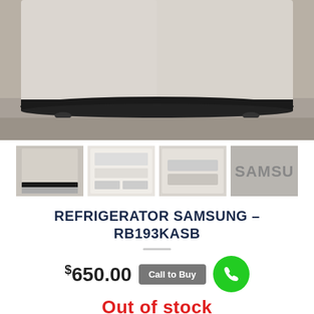[Figure (photo): Close-up photo of the bottom of a Samsung refrigerator showing the black base/kick plate and feet on a gray concrete floor]
[Figure (photo): Thumbnail 1: Front view of Samsung refrigerator]
[Figure (photo): Thumbnail 2: Interior of refrigerator showing shelves]
[Figure (photo): Thumbnail 3: Interior drawer/freezer section of refrigerator]
[Figure (photo): Thumbnail 4: Samsung logo on refrigerator surface]
REFRIGERATOR SAMSUNG – RB193KASB
$650.00
Call to Buy
Out of stock